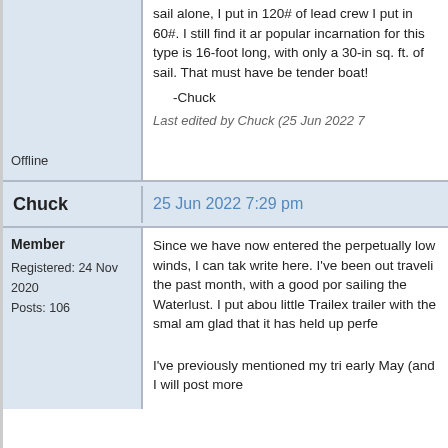sail alone, I put in 120# of lead crew I put in 60#.  I still find it a popular incarnation for this type is 16-foot long, with only a 30-in sq. ft. of sail.  That must have b tender boat!
-Chuck
Last edited by Chuck (25 Jun 2022 7
Offline
Chuck
25 Jun 2022 7:29 pm
Member
Registered: 24 Nov 2020
Posts: 106
Since we have now entered the perpetually low winds, I can tak write here.  I've been out traveli the past month, with a good por sailing the Waterlust.  I put abou little Trailex trailer with the smal am glad that it has held up perfe
I've previously mentioned my tri early May (and I will post more